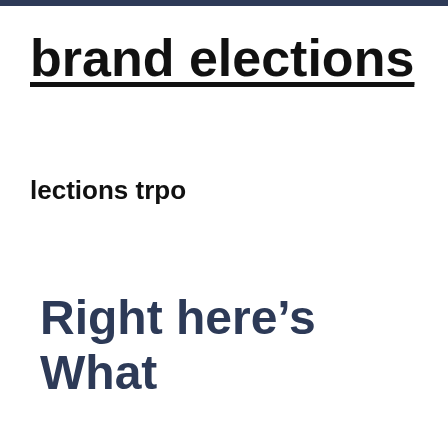brand elections
lections trpo
Right here’s What People Are actually Claiming About Dating